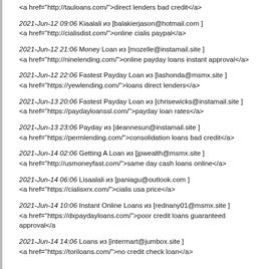<a href="http://tauloans.com/">direct lenders bad credit</a>
2021-Jun-12 09:06 Kiaalali из [balakierjason@hotmail.com ]
<a href="http://cialisdist.com/">online cialis paypal</a>
2021-Jun-12 21:06 Money Loan из [mozelle@instamail.site ]
<a href="http://ninelending.com/">online payday loans instant approval</a>
2021-Jun-12 22:06 Fastest Payday Loan из [lashonda@msmx.site ]
<a href="https://yewlending.com/">loans direct lenders</a>
2021-Jun-13 20:06 Fastest Payday Loan из [chrisewicks@instamail.site ]
<a href="https://paydayloanssl.com/">payday loan rates</a>
2021-Jun-13 23:06 Payday из [deannesun@instamail.site ]
<a href="https://permlending.com/">consolidation loans bad credit</a>
2021-Jun-14 02:06 Getting A Loan из [jpwealth@msmx.site ]
<a href="http://usmoneyfast.com/">same day cash loans online</a>
2021-Jun-14 06:06 Lisaalali из [paniagu@outlook.com ]
<a href="https://cialisxrx.com/">cialis usa price</a>
2021-Jun-14 10:06 Instant Online Loans из [rednany01@msmx.site ]
<a href="https://dxpaydayloans.com/">poor credit loans guaranteed approval</a>
2021-Jun-14 14:06 Loans из [intermart@jumbox.site ]
<a href="https://toriloans.com/">no credit check loan</a>